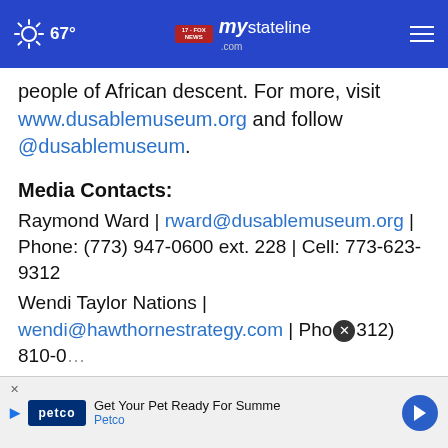67° mystateline.com NEWS
people of African descent. For more, visit www.dusablemuseum.org and follow @dusablemuseum.
Media Contacts:
Raymond Ward | rward@dusablemuseum.org | Phone: (773) 947-0600 ext. 228 | Cell: 773-623-9312
Wendi Taylor Nations | wendi@hawthornestrategy.com | Phone: (312) 810-0...
[Figure (screenshot): Advertisement banner: Get Your Pet Ready For Summer - Petco]